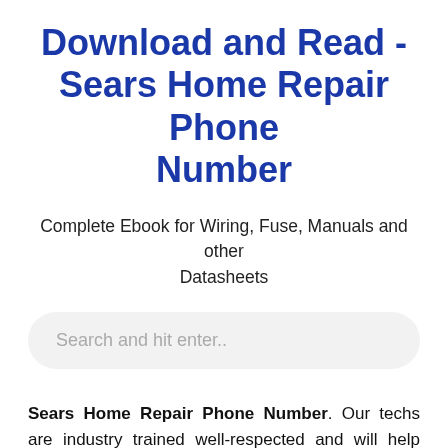Download and Read - Sears Home Repair Phone Number
Complete Ebook for Wiring, Fuse, Manuals and other Datasheets
Search and hit enter..
Sears Home Repair Phone Number. Our techs are industry trained well-respected and will help keep your products running longer and working right in no time. Simply call or click the Schedule button to book